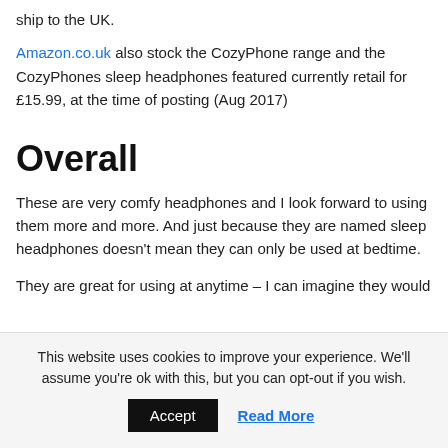ship to the UK.
Amazon.co.uk also stock the CozyPhone range and the CozyPhones sleep headphones featured currently retail for £15.99, at the time of posting (Aug 2017)
Overall
These are very comfy headphones and I look forward to using them more and more. And just because they are named sleep headphones doesn't mean they can only be used at bedtime.
They are great for using at anytime – I can imagine they would
This website uses cookies to improve your experience. We'll assume you're ok with this, but you can opt-out if you wish.